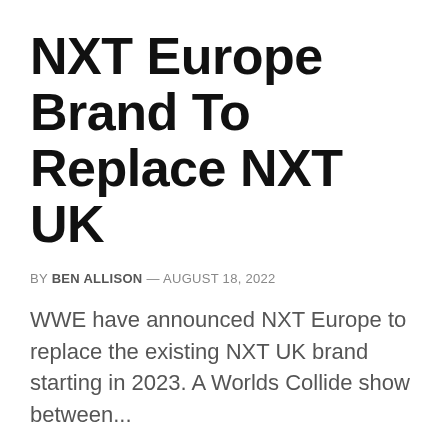NXT Europe Brand To Replace NXT UK
BY BEN ALLISON — AUGUST 18, 2022
WWE have announced NXT Europe to replace the existing NXT UK brand starting in 2023. A Worlds Collide show between...